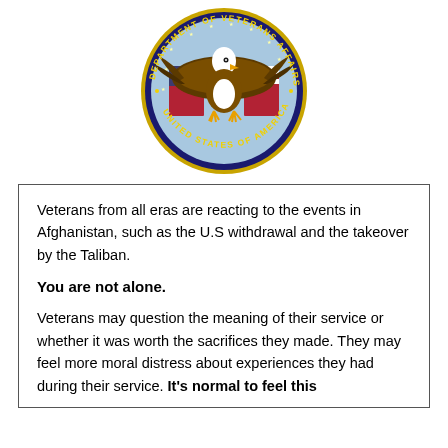[Figure (logo): Department of Veterans Affairs seal / logo - circular seal with bald eagle holding American flags, stars, text reading DEPARTMENT OF VETERANS AFFAIRS UNITED STATES OF AMERICA with gold rope border on blue background]
Veterans from all eras are reacting to the events in Afghanistan, such as the U.S withdrawal and the takeover by the Taliban.
You are not alone.
Veterans may question the meaning of their service or whether it was worth the sacrifices they made. They may feel more moral distress about experiences they had during their service. It's normal to feel this [way. Talk with your friends and families, or do not to]